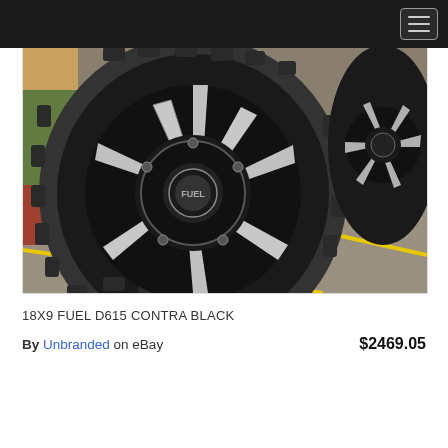[Figure (photo): Close-up photo of a black off-road wheel (18x9 Fuel D615 Contra) with large mud terrain tire, mounted on a truck, shown in a warehouse or garage with yellow lines painted on the concrete floor. A second wheel is visible in the background on the right.]
18X9 FUEL D615 CONTRA BLACK
By Unbranded on eBay  $2469.05